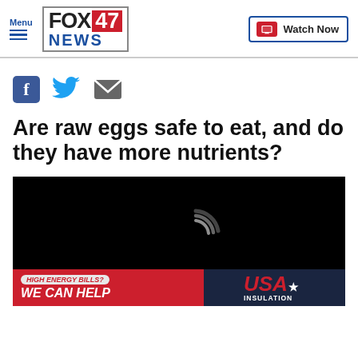FOX 47 NEWS — Menu | Watch Now
[Figure (screenshot): Social media sharing icons: Facebook (blue square with f), Twitter (blue bird), Email (gray envelope)]
Are raw eggs safe to eat, and do they have more nutrients?
[Figure (screenshot): Video player loading screen (black background with gray loading spinner arcs) with an advertisement banner at the bottom: 'HIGH ENERGY BILLS? WE CAN HELP — USA INSULATION']